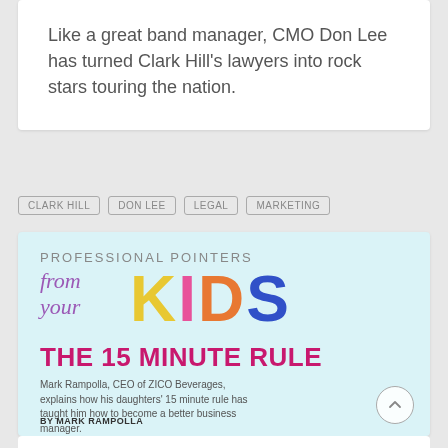Like a great band manager, CMO Don Lee has turned Clark Hill's lawyers into rock stars touring the nation.
CLARK HILL
DON LEE
LEGAL
MARKETING
[Figure (infographic): Professional Pointers from your KIDS infographic card with light blue background. Title reads 'THE 15 MINUTE RULE'. Subtitle: Mark Rampolla, CEO of ZICO Beverages, explains how his daughters' 15 minute rule has taught him how to become a better business manager. BY MARK RAMPOLLA.]